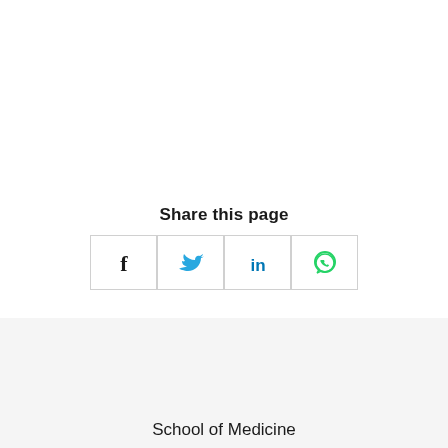Share this page
[Figure (other): Four social share buttons: Facebook (dark blue f icon), Twitter (light blue bird icon), LinkedIn (blue in icon), WhatsApp (green phone-in-bubble icon), each in a white bordered square box]
School of Medicine